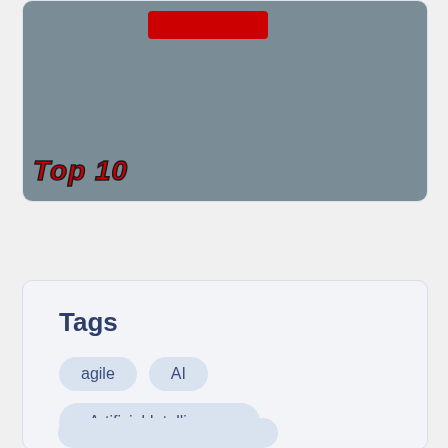[Figure (screenshot): Thumbnail image showing a person with a red redaction bar over the eyes and 'Top 10' text overlay in red bold font on a grey background]
Tags
agile
AI
Artificial Intelligence